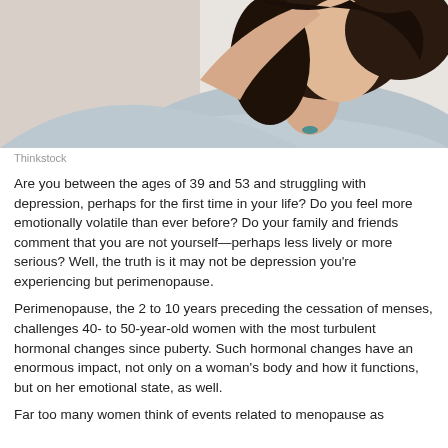[Figure (photo): Cropped photo of a young woman with dark hair, wearing a light blue/grey top, hand raised near her head, visible from shoulders up against a light background.]
Thinkstock
Are you between the ages of 39 and 53 and struggling with depression, perhaps for the first time in your life? Do you feel more emotionally volatile than ever before? Do your family and friends comment that you are not yourself—perhaps less lively or more serious? Well, the truth is it may not be depression you're experiencing but perimenopause.
Perimenopause, the 2 to 10 years preceding the cessation of menses, challenges 40- to 50-year-old women with the most turbulent hormonal changes since puberty. Such hormonal changes have an enormous impact, not only on a woman's body and how it functions, but on her emotional state, as well.
Far too many women think of events related to menopause as